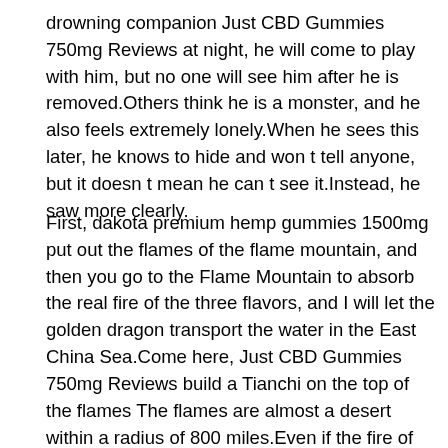drowning companion Just CBD Gummies 750mg Reviews at night, he will come to play with him, but no one will see him after he is removed.Others think he is a monster, and he also feels extremely lonely.When he sees this later, he knows to hide and won t tell anyone, but it doesn t mean he can t see it.Instead, he saw more clearly.
First, dakota premium hemp gummies 1500mg put out the flames of the flame mountain, and then you go to the Flame Mountain to absorb the real fire of the three flavors, and I will let the golden dragon transport the water in the East China Sea.Come here, Just CBD Gummies 750mg Reviews build a Tianchi on the top of the flames The flames are almost a desert within a radius of 800 miles.Even if the fire of cbd hemp oil whole foods the Flaming Mountain is extinguished with a banana fan, there is no way to turn this place into an oasis and paradise without a lot of water and people don t even have a cbd delta 8 gummies near me living environment.How could his land, his people, be so miserable There is no water here, so it s a big deal to build a Tianchi.Let the water of Tianchi keep flowing down day and night.Eight hundred miles away